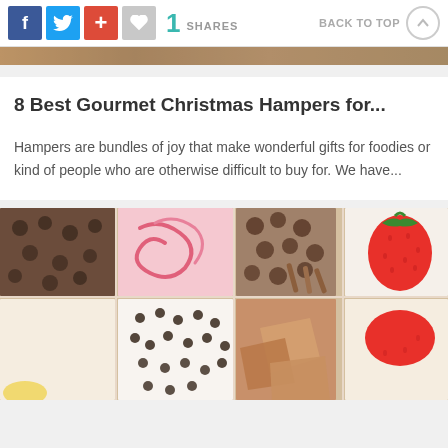f [Facebook] | [Twitter] | + [Google+] | [Heart] | 1 SHARES | BACK TO TOP [↑]
[Figure (photo): Partial image strip showing food at the top of the page]
8 Best Gourmet Christmas Hampers for...
Hampers are bundles of joy that make wonderful gifts for foodies or kind of people who are otherwise difficult to buy for. We have...
[Figure (photo): Close-up photo of an assortment of gourmet chocolates, fudge, and confections in a box, with a strawberry visible on the right side]